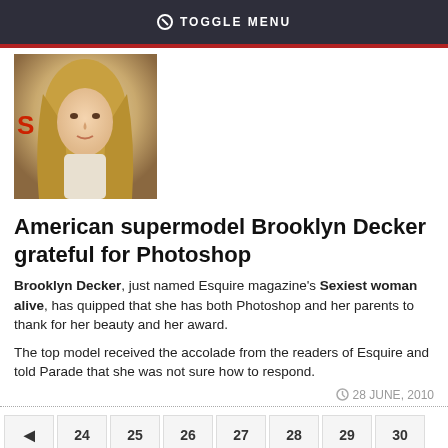TOGGLE MENU
[Figure (photo): Photo of Brooklyn Decker, blonde woman with long wavy hair, wearing white top]
American supermodel Brooklyn Decker grateful for Photoshop
Brooklyn Decker, just named Esquire magazine's Sexiest woman alive, has quipped that she has both Photoshop and her parents to thank for her beauty and her award.
The top model received the accolade from the readers of Esquire and told Parade that she was not sure how to respond.
28 JUNE, 2010
◄ 24 25 26 27 28 29 30